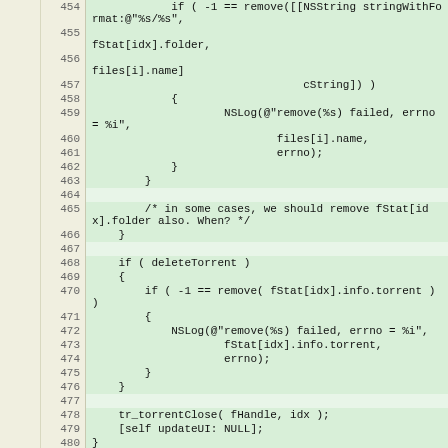[Figure (screenshot): Source code listing in Objective-C showing lines 454-480, with line numbers in beige column and code in green background. Code involves file removal logic using NSLog, remove(), deleteTorrent checks, and tr_torrentClose.]